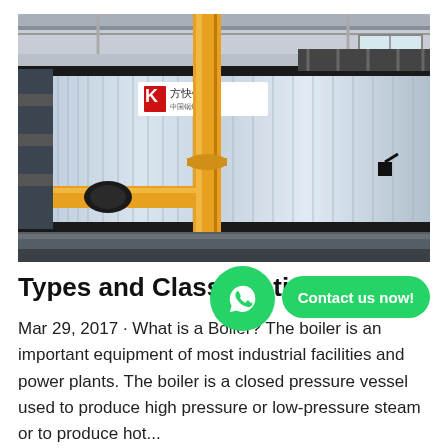[Figure (photo): Industrial boiler with corrugated silver metallic casing and yellow gas pipes, inside a factory/warehouse setting. Chinese text logo visible on the boiler front panel.]
Types and Classification of Industrial Boil...
Mar 29, 2017 · What is a Boiler? The boiler is an important equipment of most industrial facilities and power plants. The boiler is a closed pressure vessel used to produce high pressure or low-pressure steam or to produce hot...